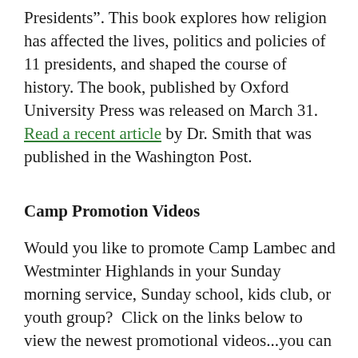Presidents".  This book explores how religion has affected the lives, politics and policies of 11 presidents, and shaped the course of history.  The book, published by Oxford University Press was released on March 31.  Read a recent article by Dr. Smith that was published in the Washington Post.
Camp Promotion Videos
Would you like to promote Camp Lambec and Westminter Highlands in your Sunday morning service, Sunday school, kids club, or youth group?  Click on the links below to view the newest promotional videos...you can even link them to your church website, Twitter, or Facebook!